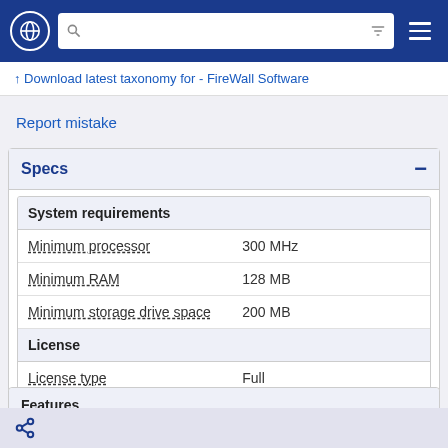Navigation bar with globe icon, search bar, and menu
↑  Download latest taxonomy for - FireWall Software
Report mistake
Specs
| System requirements |  |
| --- | --- |
| Minimum processor | 300 MHz |
| Minimum RAM | 128 MB |
| Minimum storage drive space | 200 MB |
| License |  |
| License type | Full |
| License quantity * | 1 license(s) |
Features
Share icon